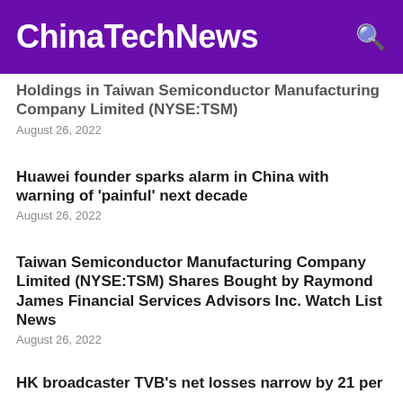ChinaTechNews
Holdings in Taiwan Semiconductor Manufacturing Company Limited (NYSE:TSM)
August 26, 2022
Huawei founder sparks alarm in China with warning of 'painful' next decade
August 26, 2022
Taiwan Semiconductor Manufacturing Company Limited (NYSE:TSM) Shares Bought by Raymond James Financial Services Advisors Inc. Watch List News
August 26, 2022
HK broadcaster TVB's net losses narrow by 21 per